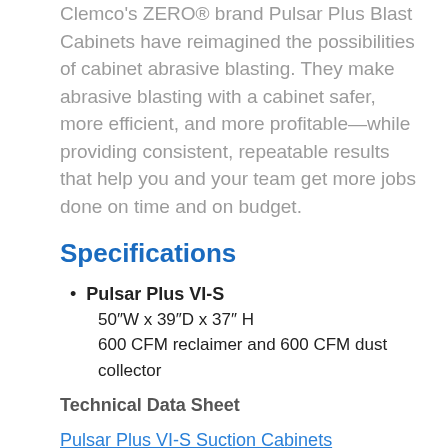Clemco's ZERO® brand Pulsar Plus Blast Cabinets have reimagined the possibilities of cabinet abrasive blasting. They make abrasive blasting with a cabinet safer, more efficient, and more profitable—while providing consistent, repeatable results that help you and your team get more jobs done on time and on budget.
Specifications
Pulsar Plus VI-S
50"W x 39"D x 37" H
600 CFM reclaimer and 600 CFM dust collector
Technical Data Sheet
Pulsar Plus VI-S Suction Cabinets
Parts List and Operation Manual